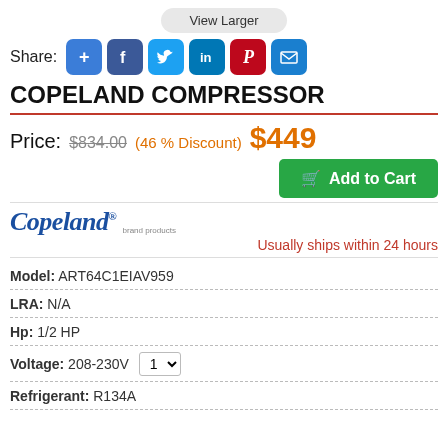View Larger
Share:
COPELAND COMPRESSOR
Price: $834.00 (46 % Discount) $449
Add to Cart
[Figure (logo): Copeland brand products logo in blue italic serif font]
Usually ships within 24 hours
Model: ART64C1EIAV959
LRA: N/A
Hp: 1/2 HP
Voltage: 208-230V  1
Refrigerant: R134A